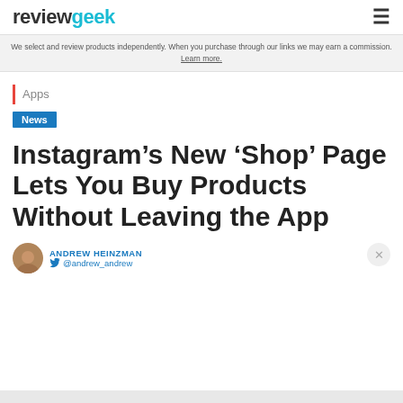reviewgeek
We select and review products independently. When you purchase through our links we may earn a commission. Learn more.
Apps
News
Instagram’s New ‘Shop’ Page Lets You Buy Products Without Leaving the App
ANDREW HEINZMAN  @andrew_andrew